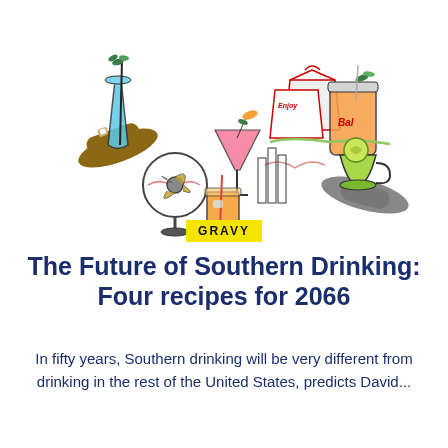[Figure (illustration): Collection of illustrated cocktail and drink images: a hand holding a blue cocktail with mint, a mason jar with iced tea next to takeout boxes labeled 'Enjoy', a pink martini glass with garnish above a cityscape sketch, an electric fan next to a whiskey glass, a hand holding a green cocktail cup. The 'GRAVY' label appears in a yellow badge in the center-lower area of the illustration.]
The Future of Southern Drinking: Four recipes for 2066
In fifty years, Southern drinking will be very different from drinking in the rest of the United States, predicts David...